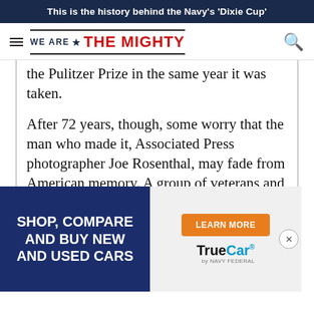This is the history behind the Navy's 'Dixie Cup'
[Figure (logo): We Are The Mighty website logo with hamburger menu and search icon]
the Pulitzer Prize in the same year it was taken.
After 72 years, though, some worry that the man who made it, Associated Press photographer Joe Rosenthal, may fade from American memory. A group of veterans and photographers want to avoid that with their longshot petition to the US Navy asking that...
[Figure (other): TrueCar by Navy Federal advertisement: Shop, Compare and Buy New and Used Cars with Learn More button]